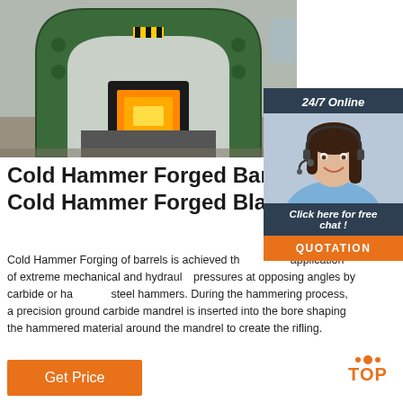[Figure (photo): Industrial forging press machine — large green metal arch frame with yellow/black striped safety markings and glowing heated billet inside, in a factory setting]
[Figure (photo): Customer service representative — woman with headset smiling, with 24/7 Online chat widget overlay showing 'Click here for free chat!' and QUOTATION button]
Cold Hammer Forged Barrels Cold Hammer Forged Blanks
Cold Hammer Forging of barrels is achieved through the application of extreme mechanical and hydraulic pressures at opposing angles by carbide or hardened steel hammers. During the hammering process, a precision ground carbide mandrel is inserted into the bore shaping the hammered material around the mandrel to create the rifling.
Get Price